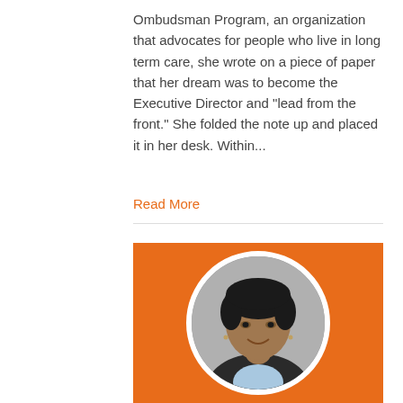Ombudsman Program, an organization that advocates for people who live in long term care, she wrote on a piece of paper that her dream was to become the Executive Director and "lead from the front." She folded the note up and placed it in her desk. Within...
Read More
[Figure (photo): Headshot of a woman with short dark hair, smiling, wearing a dark suit jacket and light blue shirt. The photo is circular with a white border, set against an orange background.]